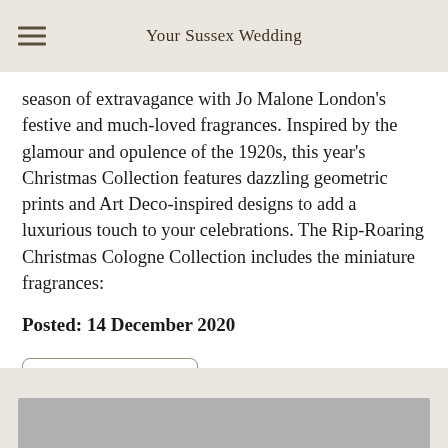Your Sussex Wedding
season of extravagance with Jo Malone London's festive and much-loved fragrances. Inspired by the glamour and opulence of the 1920s, this year's Christmas Collection features dazzling geometric prints and Art Deco-inspired designs to add a luxurious touch to your celebrations. The Rip-Roaring Christmas Cologne Collection includes the miniature fragrances:
Posted: 14 December 2020
Read this story
[Figure (photo): Bottom section showing a partial image preview on a beige/tan background strip]